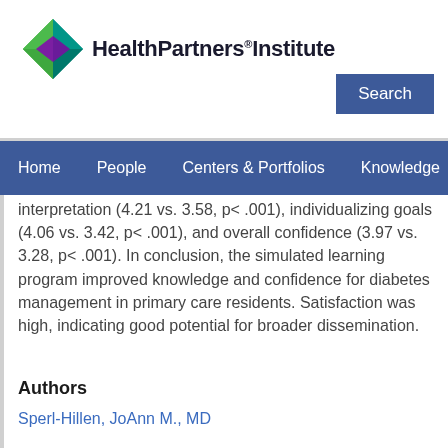HealthPartners Institute
interpretation (4.21 vs. 3.58, p< .001), individualizing goals (4.06 vs. 3.42, p< .001), and overall confidence (3.97 vs. 3.28, p< .001). In conclusion, the simulated learning program improved knowledge and confidence for diabetes management in primary care residents. Satisfaction was high, indicating good potential for broader dissemination.
Authors
Sperl-Hillen, JoAnn M., MD